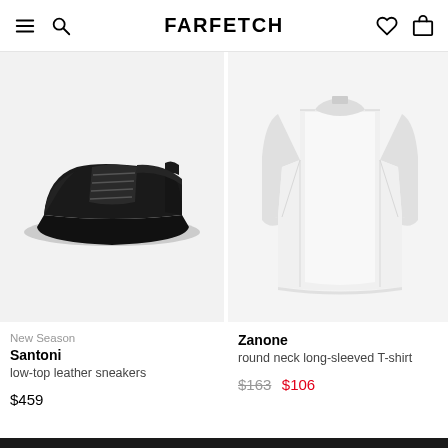FARFETCH
[Figure (photo): Black low-top leather sneakers on light grey background]
[Figure (photo): White round neck long-sleeved T-shirt on light grey background]
New Season
Santoni
low-top leather sneakers
$459
Zanone
round neck long-sleeved T-shirt
$163 $106